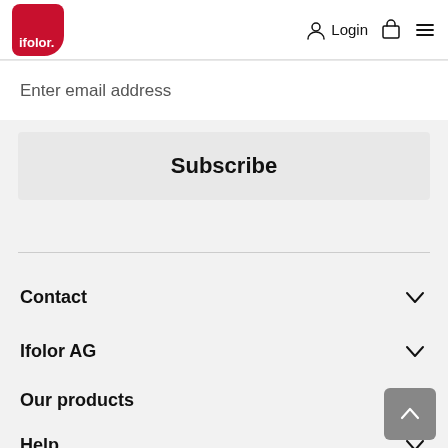[Figure (logo): ifolor red logo with white text]
Login
Enter email address
Subscribe
Contact
Ifolor AG
Our products
Help